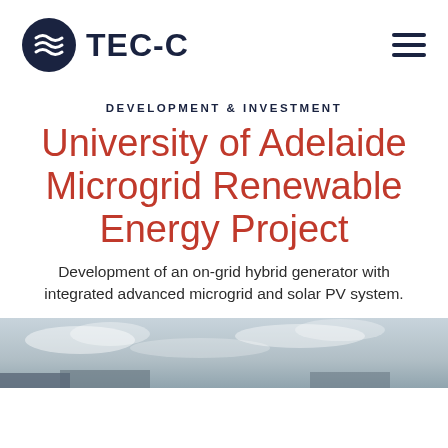[Figure (logo): TEC-C logo: circular dark navy icon with three horizontal wave lines inside, followed by bold text 'TEC-C' in dark navy. Hamburger menu icon (three horizontal lines) in top-right corner.]
DEVELOPMENT & INVESTMENT
University of Adelaide Microgrid Renewable Energy Project
Development of an on-grid hybrid generator with integrated advanced microgrid and solar PV system.
[Figure (photo): Partial photograph showing a pale sky with clouds, bottom portion of a building or infrastructure, grey tones. Photo is cropped at the bottom edge of the page.]